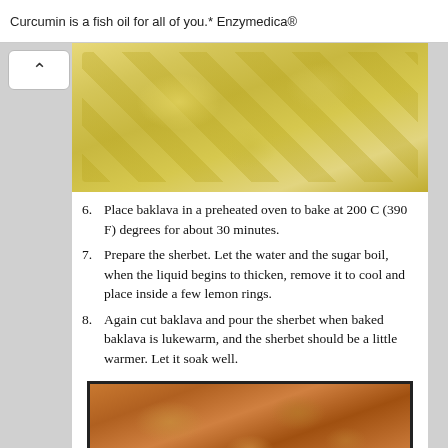Curcumin is a fish oil for all of you.* Enzymedica®
[Figure (photo): Top-down photo of baklava on a baking tray before baking, covered in a yellow-green egg wash or syrup]
6. Place baklava in a preheated oven to bake at 200 C (390 F) degrees for about 30 minutes.
7. Prepare the sherbet. Let the water and the sugar boil, when the liquid begins to thicken, remove it to cool and place inside a few lemon rings.
8. Again cut baklava and pour the sherbet when baked baklava is lukewarm, and the sherbet should be a little warmer. Let it soak well.
[Figure (photo): Photo of baked baklava in a dark baking tray showing golden-brown pastry pieces]